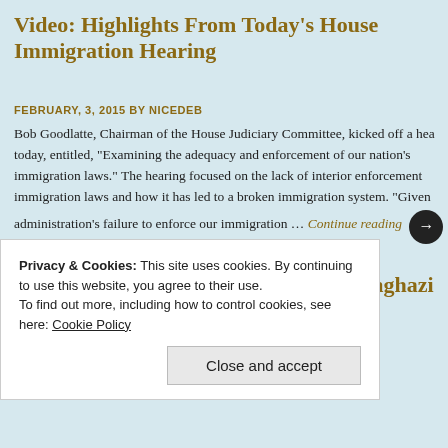Video: Highlights From Today's House Immigration Hearing
FEBRUARY, 3, 2015 BY NICEDEB
Bob Goodlatte, Chairman of the House Judiciary Committee, kicked off a hearing today, entitled, "Examining the adequacy and enforcement of our nation's immigration laws." The hearing focused on the lack of interior enforcement of immigration laws and how it has led to a broken immigration system. "Given administration's failure to enforce our immigration … Continue reading →
Trey Gowdy Not Backing Down on Benghazi – Plans To Question Hillary (Video)
JANUARY, 29, 2015 BY NICEDEB
Privacy & Cookies: This site uses cookies. By continuing to use this website, you agree to their use. To find out more, including how to control cookies, see here: Cookie Policy
Close and accept